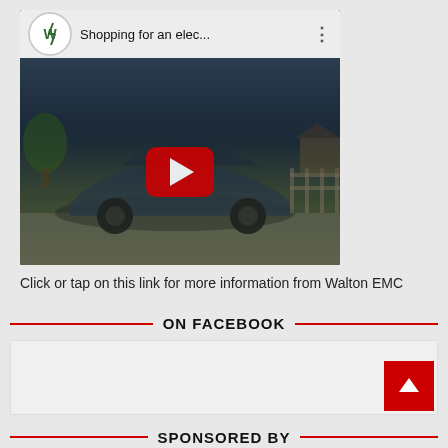[Figure (screenshot): YouTube video embed thumbnail showing a dark blue electric car (Ford Mustang Mach-E) parked on a driveway with trees in the background. The embed has a white top bar with a circular channel logo, the title 'Shopping for an elec...' and a three-dot menu icon. A red YouTube play button is centered on the video.]
Click or tap on this link for more information from Walton EMC
ON FACEBOOK
[Figure (screenshot): Empty Facebook embed box with a scroll-to-top red arrow button in the bottom right corner.]
SPONSORED BY